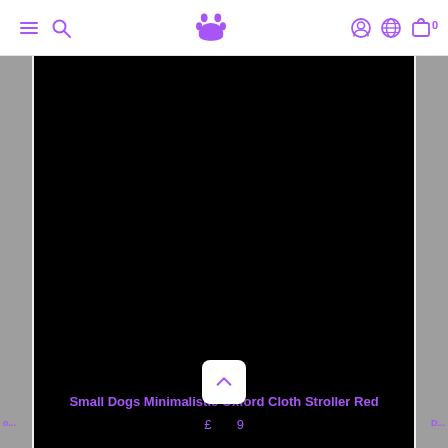Navigation bar with menu, search, paw logo, account, globe, and cart icons
[Figure (screenshot): Black product image placeholder for a pet stroller product on an e-commerce website]
Small Dogs Minimalistic Oxford Cloth Stroller Red
£ 9